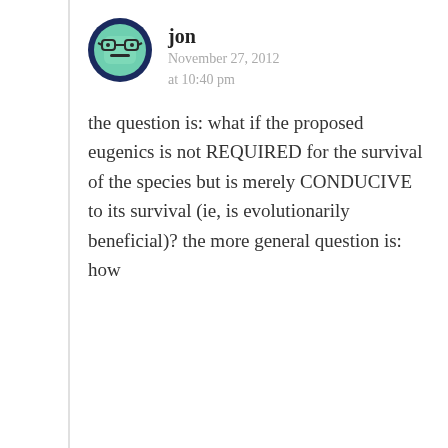[Figure (illustration): Avatar image of a cartoon face with glasses on a teal/green background with dark blue circular border]
jon
November 27, 2012 at 10:40 pm
the question is: what if the proposed eugenics is not REQUIRED for the survival of the species but is merely CONDUCIVE to its survival (ie, is evolutionarily beneficial)? the more general question is: how